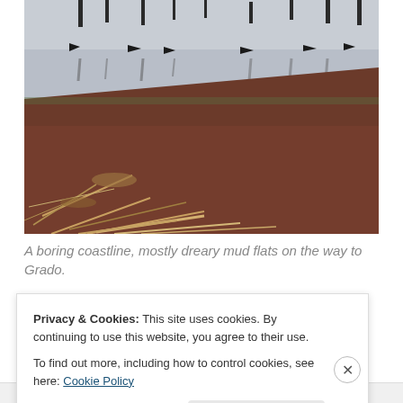[Figure (photo): A coastline scene showing dreary mud flats and water with wooden posts/pilings reflected in still water, and dead vegetation in the foreground.]
A boring coastline, mostly dreary mud flats on the way to Grado.
Privacy & Cookies: This site uses cookies. By continuing to use this website, you agree to their use.
To find out more, including how to control cookies, see here: Cookie Policy